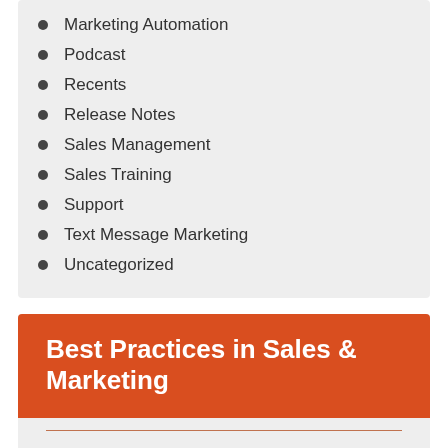Marketing Automation
Podcast
Recents
Release Notes
Sales Management
Sales Training
Support
Text Message Marketing
Uncategorized
Best Practices in Sales & Marketing
Delivered to You. Subscribe Now!